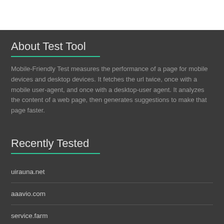About Test Tool
Mobile-Friendly Test measures the performance of a page for mobile devices and desktop devices. It fetches the url twice, once with a mobile user-agent, and once with a desktop-user agent. It analyzes the content of a web page, then generates suggestions to make that page faster.
Recently Tested
uirauna.net
aaavio.com
service.farm